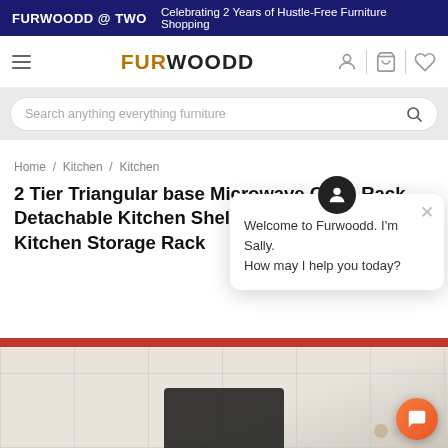FURWOODD @ TWO   Celebrating 2 Years of Hustle-Free Furniture Shopping
[Figure (logo): FURWOODD website navigation bar with hamburger menu, logo, and icons for account, cart, and wishlist]
Search anything everything furniture
Home / Kitchen / Kitchen
2 Tier Triangular base Microwave Oven Rack Detachable Kitchen Shelves Home Storage Kitchen Storage Rack
Welcome to Furwoodd. I'm Sally. How may I help you today?
[Figure (photo): Product photo of a 2 Tier Triangular base Microwave Oven Rack against a tiled kitchen wall background]